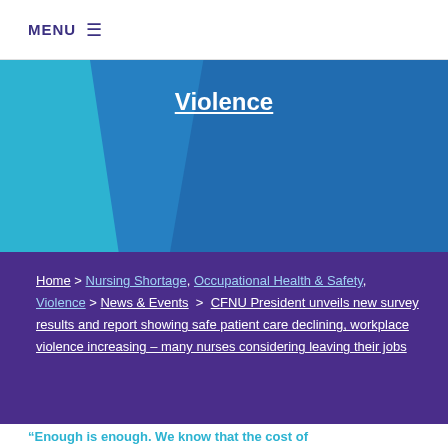MENU ≡
Violence
Home > Nursing Shortage, Occupational Health & Safety, Violence > News & Events > CFNU President unveils new survey results and report showing safe patient care declining, workplace violence increasing – many nurses considering leaving their jobs
“Enough is enough. We know that the cost of